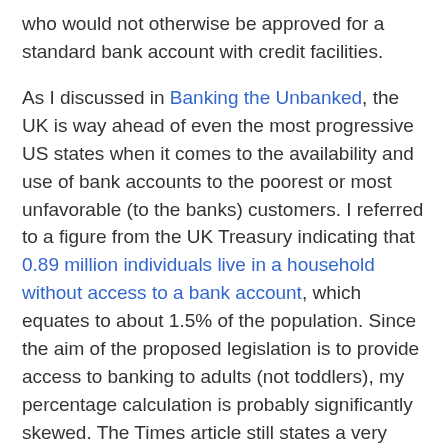who would not otherwise be approved for a standard bank account with credit facilities.
As I discussed in Banking the Unbanked, the UK is way ahead of even the most progressive US states when it comes to the availability and use of bank accounts to the poorest or most unfavorable (to the banks) customers. I referred to a figure from the UK Treasury indicating that 0.89 million individuals live in a household without access to a bank account, which equates to about 1.5% of the population. Since the aim of the proposed legislation is to provide access to banking to adults (not toddlers), my percentage calculation is probably significantly skewed. The Times article still states a very different number:
In 2003, the Government and the banking industry established the Financial Inclusion Task Force to improve access to banking facilities. Around 8 million adults have basic bank accounts and between 2003 and 2007, the number of adults